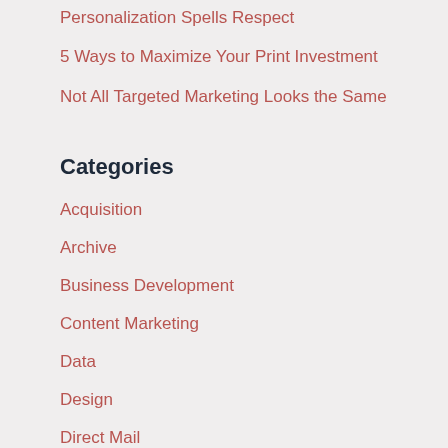Personalization Spells Respect
5 Ways to Maximize Your Print Investment
Not All Targeted Marketing Looks the Same
Categories
Acquisition
Archive
Business Development
Content Marketing
Data
Design
Direct Mail